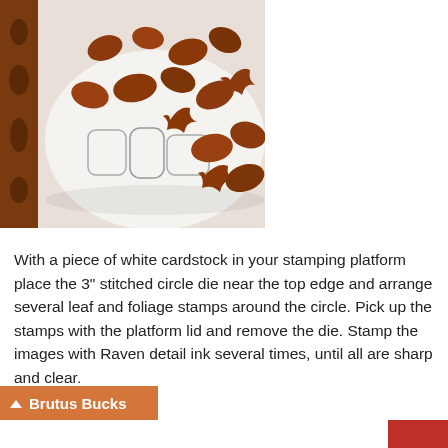[Figure (photo): Photo showing brown die-cut leaf shapes scattered on a white surface, along with metal die-cut dies (leaf/foliage shapes in silver outline). A brown cardboard die-cutting board is visible on the left edge.]
With a piece of white cardstock in your stamping platform place the 3" stitched circle die near the top edge and arrange several leaf and foliage stamps around the circle. Pick up the stamps with the platform lid and remove the die. Stamp the images with Raven detail ink several times, until all are sharp and clear.
Brutus Bucks